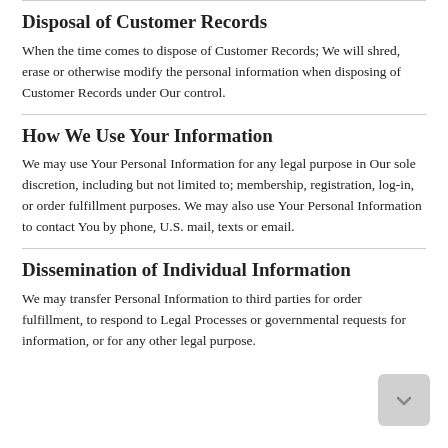Disposal of Customer Records
When the time comes to dispose of Customer Records; We will shred, erase or otherwise modify the personal information when disposing of Customer Records under Our control.
How We Use Your Information
We may use Your Personal Information for any legal purpose in Our sole discretion, including but not limited to; membership, registration, log-in, or order fulfillment purposes. We may also use Your Personal Information to contact You by phone, U.S. mail, texts or email.
Dissemination of Individual Information
We may transfer Personal Information to third parties for order fulfillment, to respond to Legal Processes or governmental requests for information, or for any other legal purpose.